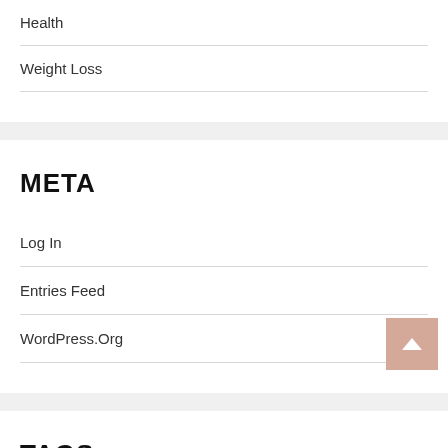Health
Weight Loss
META
Log In
Entries Feed
WordPress.Org
TAGS